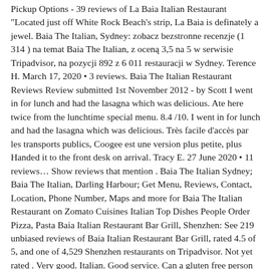Pickup Options - 39 reviews of La Baia Italian Restaurant "Located just off White Rock Beach's strip, La Baia is definately a jewel. Baia The Italian, Sydney: zobacz bezstronne recenzje (1 314 ) na temat Baia The Italian, z oceną 3,5 na 5 w serwisie Tripadvisor, na pozycji 892 z 6 011 restauracji w Sydney. Terence H. March 17, 2020 • 3 reviews. Baia The Italian Restaurant Reviews Review submitted 1st November 2012 - by Scott I went in for lunch and had the lasagna which was delicious. Ate here twice from the lunchtime special menu. 8.4 /10. I went in for lunch and had the lasagna which was delicious. Très facile d'accès par les transports publics, Coogee est une version plus petite, plus Handed it to the front desk on arrival. Tracy E. 27 June 2020 • 11 reviews… Show reviews that mention . Baia The Italian Sydney; Baia The Italian, Darling Harbour; Get Menu, Reviews, Contact, Location, Phone Number, Maps and more for Baia The Italian Restaurant on Zomato Cuisines Italian Top Dishes People Order Pizza, Pasta Baia Italian Restaurant Bar Grill, Shenzhen: See 219 unbiased reviews of Baia Italian Restaurant Bar Grill, rated 4.5 of 5, and one of 4,529 Shenzhen restaurants on Tripadvisor. Not yet rated . Very good. Italian. Good service. Can a gluten free person get a good meal at this restaurant? recommend the pannacotta for dessert yumm Under the guidance of their overseas-trained, three-hat chef and Italian management. Pick-up; Delivery fee from $4.99. One...More. On Trip.com, you can find out the best food and drinks of Baia the Italian in New South WalesSydney. For